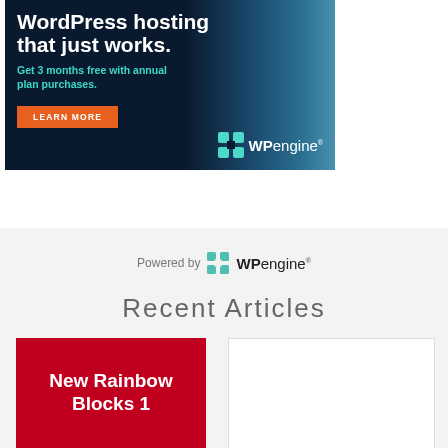[Figure (illustration): WP Engine advertisement banner with dark background, headline 'WordPress hosting that just works.', cyan subtext 'Get 3 months free with annual plan purchases.', orange LEARN MORE button, and WP Engine logo with teal icon]
[Figure (logo): Powered by WP Engine logo with teal grid icon and WP in bold dark text followed by 'engine' in light text]
Recent Articles
[Figure (illustration): Article thumbnail with red background and white bold text 'New Rainbow Blocks 1']
[Figure (screenshot): Article thumbnail showing a color picker UI with search bar, color swatches (teal, orange, red), gradient color picker area, and orange sidebar]